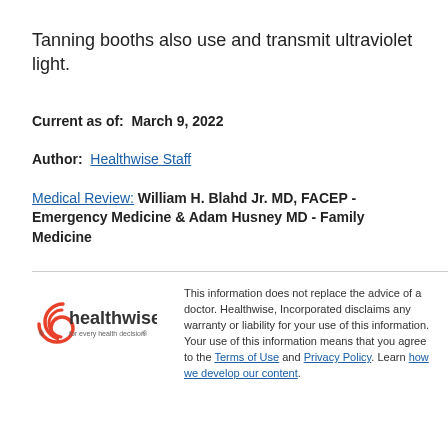Tanning booths also use and transmit ultraviolet light.
Current as of:  March 9, 2022
Author:  Healthwise Staff
Medical Review: William H. Blahd Jr. MD, FACEP - Emergency Medicine & Adam Husney MD - Family Medicine
[Figure (logo): Healthwise logo — red swirl icon with 'healthwise' text and tagline 'for every health decision']
This information does not replace the advice of a doctor. Healthwise, Incorporated disclaims any warranty or liability for your use of this information. Your use of this information means that you agree to the Terms of Use and Privacy Policy. Learn how we develop our content.